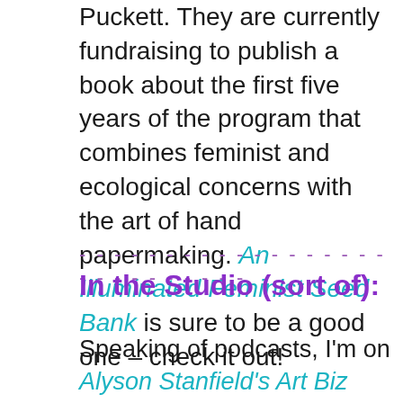Puckett. They are currently fundraising to publish a book about the first five years of the program that combines feminist and ecological concerns with the art of hand papermaking. An Illuminated Feminist Seed Bank is sure to be a good one – check it out!
- - - - - - - - - - - - - - - - - - - - - - - - - - - -
In the Studio (sort of):
Speaking of podcasts, I'm on Alyson Stanfield's Art Biz Podcast this week talking about transforming creative ideas into multiple income streams.